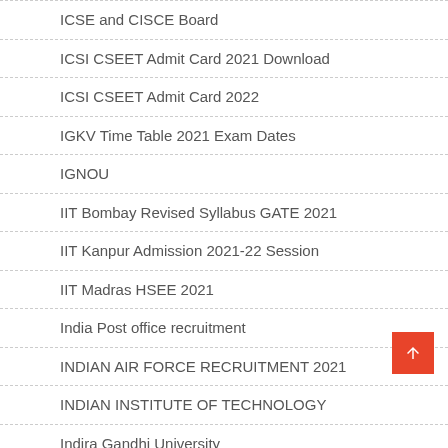ICSE and CISCE Board
ICSI CSEET Admit Card 2021 Download
ICSI CSEET Admit Card 2022
IGKV Time Table 2021 Exam Dates
IGNOU
IIT Bombay Revised Syllabus GATE 2021
IIT Kanpur Admission 2021-22 Session
IIT Madras HSEE 2021
India Post office recruitment
INDIAN AIR FORCE RECRUITMENT 2021
INDIAN INSTITUTE OF TECHNOLOGY
Indira Gandhi University